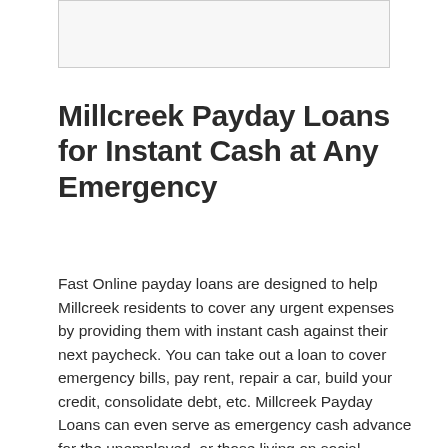[Figure (other): Placeholder image box at the top of the page]
Millcreek Payday Loans for Instant Cash at Any Emergency
Fast Online payday loans are designed to help Millcreek residents to cover any urgent expenses by providing them with instant cash against their next paycheck. You can take out a loan to cover emergency bills, pay rent, repair a car, build your credit, consolidate debt, etc. Millcreek Payday Loans can even serve as emergency cash advance for the unemployed, or those living on social benefits.